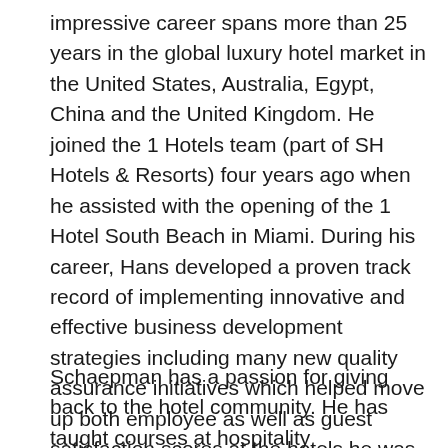impressive career spans more than 25 years in the global luxury hotel market in the United States, Australia, Egypt, China and the United Kingdom. He joined the 1 Hotels team (part of SH Hotels & Resorts) four years ago when he assisted with the opening of the 1 Hotel South Beach in Miami. During his career, Hans developed a proven track record of implementing innovative and effective business development strategies including many new quality assurance initiatives which helped move up both employee as well as guest satisfaction scores at the hotels he was responsible for. He is a strong believer in making his colleagues around him stronger by leading by example, sharing his knowledge and experience and by challenging those around him to become top performers.
Schaepman has a passion for giving back to the hotel community. He has taught courses at hospitality